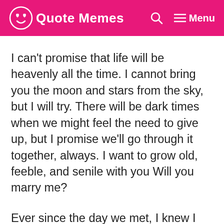Quote Memes   Menu
I can't promise that life will be heavenly all the time. I cannot bring you the moon and stars from the sky, but I will try. There will be dark times when we might feel the need to give up, but I promise we'll go through it together, always. I want to grow old, feeble, and senile with you Will you marry me?
Ever since the day we met, I knew I was